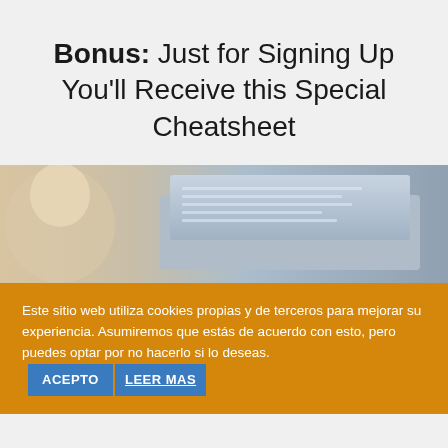Bonus: Just for Signing Up You'll Receive this Special Cheatsheet
[Figure (photo): Close-up photo of a laptop on a desk, partially visible, with a blurred warm-toned background (coffee cup area on the left)]
Este sitio web utiliza cookies propias y de terceros para mejorar su experiencia. Asumiremos que estás de acuerdo con esto, pero puedes optar por no hacerlo si lo deseas. ACEPTO LEER MAS